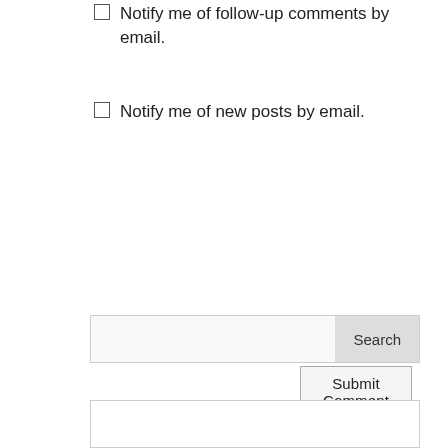Notify me of follow-up comments by email.
Notify me of new posts by email.
Submit Comment
[Figure (screenshot): Search input box with a 'Search' button on the right]
[Figure (screenshot): Empty white box widget area at the bottom]